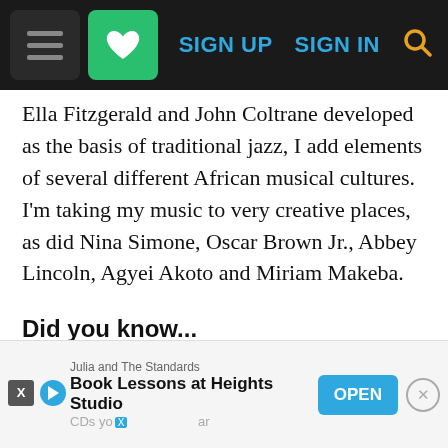SIGN UP  SIGN IN  [search]
Ella Fitzgerald and John Coltrane developed as the basis of traditional jazz, I add elements of several different African musical cultures. I'm taking my music to very creative places, as did Nina Simone, Oscar Brown Jr., Abbey Lincoln, Agyei Akoto and Miriam Makeba.
Did you know...
I danced professionally with an African dance troupe from about eight to twenty years of age. I had no intention of entering into the arts but the pull and the affect was undeniable. It sensitized my listening ability and brought me deeply into the music.
Julia and The Standards — Book Lessons at Heights Studio  OPEN  CDs yo...  ar